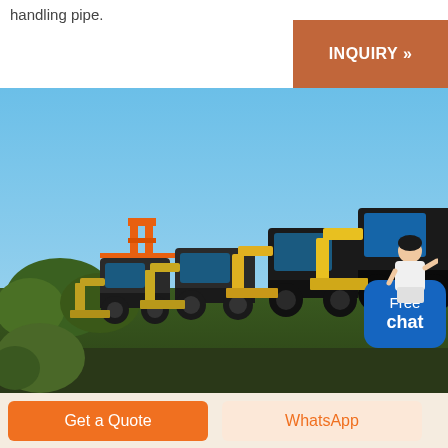handling pipe.
[Figure (other): Button with text INQUIRY >> on brown/terracotta background]
[Figure (photo): Row of yellow and black wheel loaders/construction machinery parked in a yard against a blue sky, with an orange crane structure visible in the background and green trees/bushes in the foreground left. A customer service avatar figure appears in the top right with a blue 'Free chat' bubble.]
Get a Quote
WhatsApp